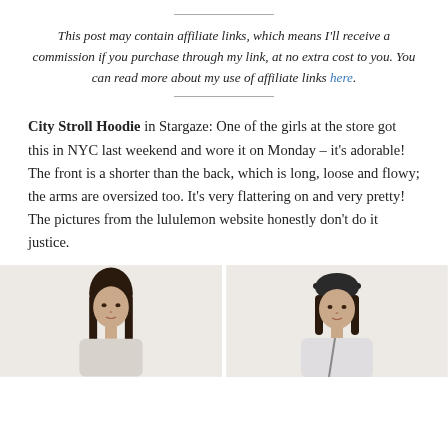This post may contain affiliate links, which means I'll receive a commission if you purchase through my link, at no extra cost to you. You can read more about my use of affiliate links here.
City Stroll Hoodie in Stargaze: One of the girls at the store got this in NYC last weekend and wore it on Monday – it's adorable! The front is a shorter than the back, which is long, loose and flowy; the arms are oversized too. It's very flattering on and very pretty! The pictures from the lululemon website honestly don't do it justice.
[Figure (photo): Two photos side by side showing models wearing the City Stroll Hoodie from lululemon. Left photo shows a model with long dark hair facing forward. Right photo shows a model wearing a cap and hoodie.]